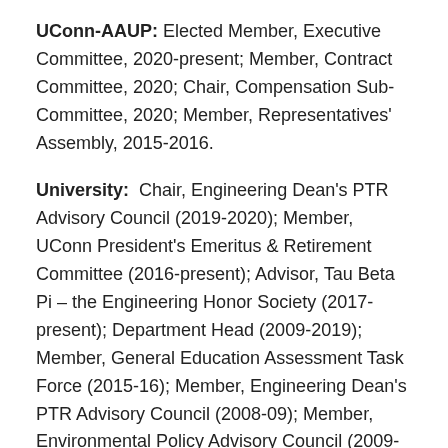UConn-AAUP: Elected Member, Executive Committee, 2020-present; Member, Contract Committee, 2020; Chair, Compensation Sub-Committee, 2020; Member, Representatives' Assembly, 2015-2016.
University: Chair, Engineering Dean's PTR Advisory Council (2019-2020); Member, UConn President's Emeritus & Retirement Committee (2016-present); Advisor, Tau Beta Pi – the Engineering Honor Society (2017-present); Department Head (2009-2019); Member, General Education Assessment Task Force (2015-16); Member, Engineering Dean's PTR Advisory Council (2008-09); Member, Environmental Policy Advisory Council (2009-16); Member, UConn Provost's